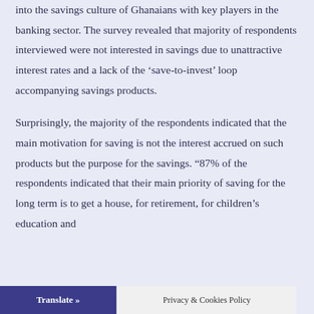into the savings culture of Ghanaians with key players in the banking sector. The survey revealed that majority of respondents interviewed were not interested in savings due to unattractive interest rates and a lack of the 'save-to-invest' loop accompanying savings products.
Surprisingly, the majority of the respondents indicated that the main motivation for saving is not the interest accrued on such products but the purpose for the savings. "87% of the respondents indicated that their main priority of saving for the long term is to get a house, for retirement, for children's education and
Translate »   Privacy & Cookies Policy